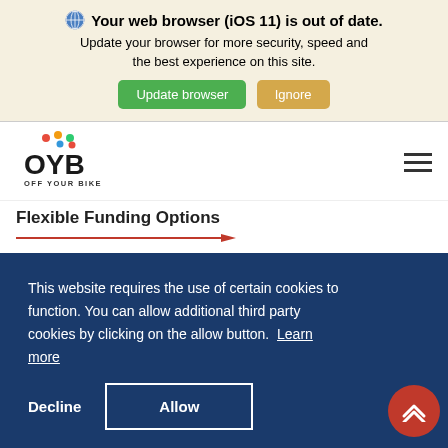Your web browser (iOS 11) is out of date. Update your browser for more security, speed and the best experience on this site.
Update browser | Ignore
[Figure (logo): OYB Off Your Bike logo with colorful dots above the letters OYB]
Flexible Funding Options
This website requires the use of certain cookies to function. You can allow additional third party cookies by clicking on the allow button. Learn more
Decline | Allow
REQUEST A CALLBACK